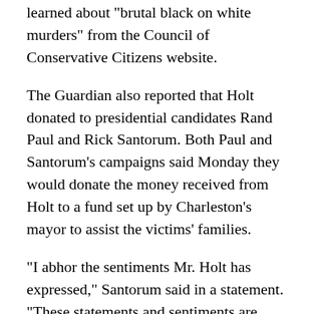learned about "brutal black on white murders" from the Council of Conservative Citizens website.
The Guardian also reported that Holt donated to presidential candidates Rand Paul and Rick Santorum. Both Paul and Santorum's campaigns said Monday they would donate the money received from Holt to a fund set up by Charleston's mayor to assist the victims' families.
"I abhor the sentiments Mr. Holt has expressed," Santorum said in a statement. "These statements and sentiments are unacceptable. Period. End of sentence."
In a statement posted online Sunday, Holt said that it "was not surprising" that Roof credited his group with his knowledge of black on white crime. But he